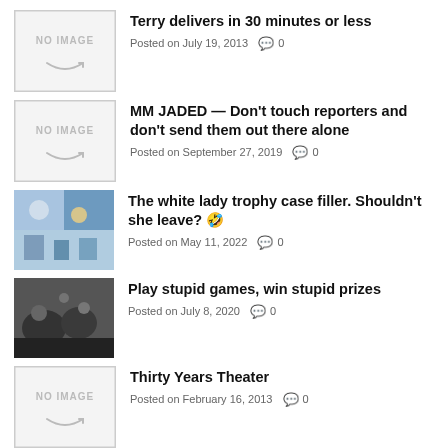Terry delivers in 30 minutes or less
Posted on July 19, 2013  0
MM JADED — Don't touch reporters and don't send them out there alone
Posted on September 27, 2019  0
The white lady trophy case filler. Shouldn't she leave? 🤣
Posted on May 11, 2022  0
Play stupid games, win stupid prizes
Posted on July 8, 2020  0
Thirty Years Theater
Posted on February 16, 2013  0
OUR TWEETS